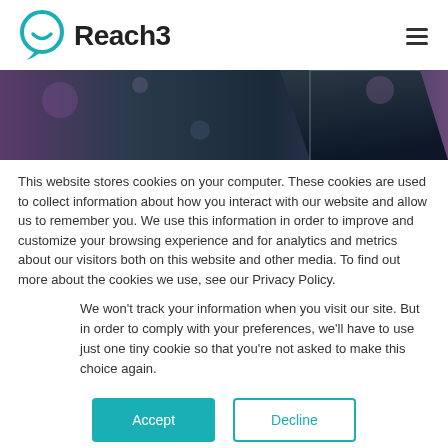[Figure (logo): Reach3 logo with teal speech bubble icon and bold text 'Reach3']
[Figure (photo): Close-up photo of a dark smartphone with blurred colorful background]
This website stores cookies on your computer. These cookies are used to collect information about how you interact with our website and allow us to remember you. We use this information in order to improve and customize your browsing experience and for analytics and metrics about our visitors both on this website and other media. To find out more about the cookies we use, see our Privacy Policy.
We won't track your information when you visit our site. But in order to comply with your preferences, we'll have to use just one tiny cookie so that you're not asked to make this choice again.